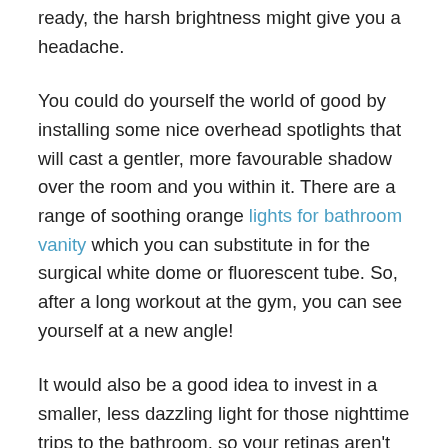ready, the harsh brightness might give you a headache.
You could do yourself the world of good by installing some nice overhead spotlights that will cast a gentler, more favourable shadow over the room and you within it. There are a range of soothing orange lights for bathroom vanity which you can substitute in for the surgical white dome or fluorescent tube. So, after a long workout at the gym, you can see yourself at a new angle!
It would also be a good idea to invest in a smaller, less dazzling light for those nighttime trips to the bathroom, so your retinas aren't burning when you try to get back to sleep.
Mirrors
On a similar note, the choice of mirror you opt for as well, as the brightness and ost hiding position, it will b...